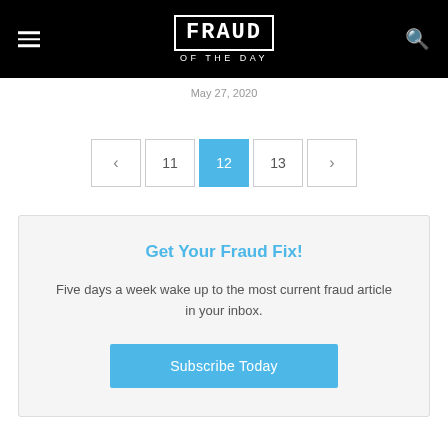FRAUD OF THE DAY
May 27, 2020
< 11 12 13 >
Get Your Fraud Fix!
Five days a week wake up to the most current fraud article in your inbox.
Subscribe Today